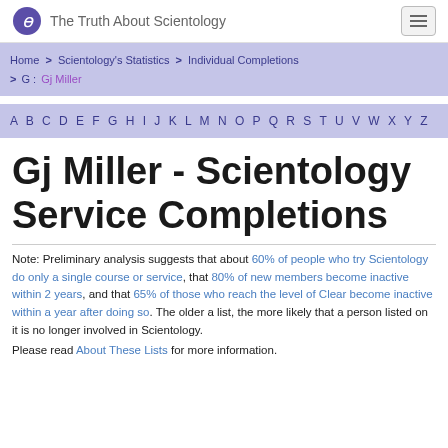The Truth About Scientology
Home > Scientology's Statistics > Individual Completions > G : Gj Miller
A B C D E F G H I J K L M N O P Q R S T U V W X Y Z
Gj Miller - Scientology Service Completions
Note: Preliminary analysis suggests that about 60% of people who try Scientology do only a single course or service, that 80% of new members become inactive within 2 years, and that 65% of those who reach the level of Clear become inactive within a year after doing so. The older a list, the more likely that a person listed on it is no longer involved in Scientology.
Please read About These Lists for more information.